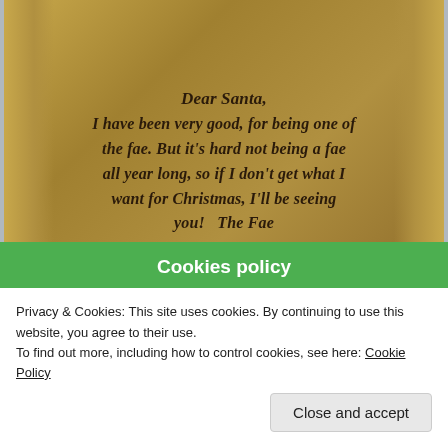[Figure (photo): Photo of a decorative scroll/parchment with handwritten calligraphy text reading 'Dear Santa, I have been very good, for being one of the fae. But it's hard not being a fae all year long, so if I don't get what I want for Christmas, I'll be seeing you! The Fae' with watermark 'Terry Spear photography' in lower left]
[Figure (photo): Website banner photo with dramatic red and purple sunset sky, showing www.terryspear.com text overlaid, with book spines and scroll at the bottom partially visible with text 'Once upon a time...']
Cookies policy
Privacy & Cookies: This site uses cookies. By continuing to use this website, you agree to their use.
To find out more, including how to control cookies, see here: Cookie Policy